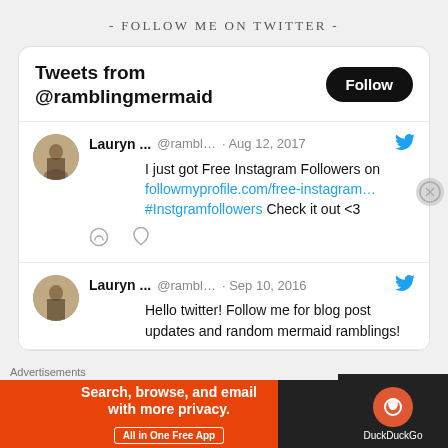- FOLLOW ME ON TWITTER -
Tweets from @ramblingmermaid
Follow
[Figure (screenshot): Tweet by Lauryn ... @rambl... · Aug 12, 2017 — I just got Free Instagram Followers on followmyprofile.com/free-instagram… #Instgramfollowers Check it out <3]
Lauryn ... @rambl... · Aug 12, 2017
I just got Free Instagram Followers on followmyprofile.com/free-instagram… #Instgramfollowers Check it out <3
Lauryn ... @rambl... · Sep 10, 2016
Hello twitter! Follow me for blog post updates and random mermaid ramblings!
Advertisements
[Figure (screenshot): DuckDuckGo advertisement banner: Search, browse, and email with more privacy. All in One Free App]